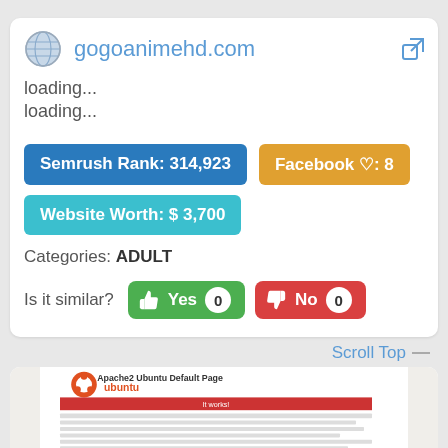gogoanimehd.com
loading...
loading...
Semrush Rank: 314,923
Facebook ♡: 8
Website Worth: $ 3,700
Categories: ADULT
Is it similar?  Yes 0  No 0
Scroll Top
[Figure (screenshot): Apache2 Ubuntu Default Page screenshot]